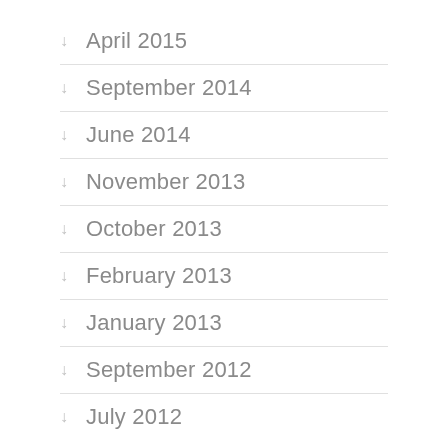April 2015
September 2014
June 2014
November 2013
October 2013
February 2013
January 2013
September 2012
July 2012